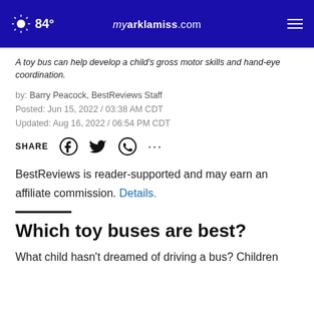84° myarklamiss.com
A toy bus can help develop a child's gross motor skills and hand-eye coordination.
by: Barry Peacock, BestReviews Staff
Posted: Jun 15, 2022 / 03:38 AM CDT
Updated: Aug 16, 2022 / 06:54 PM CDT
SHARE
BestReviews is reader-supported and may earn an affiliate commission. Details.
Which toy buses are best?
What child hasn't dreamed of driving a bus? Children